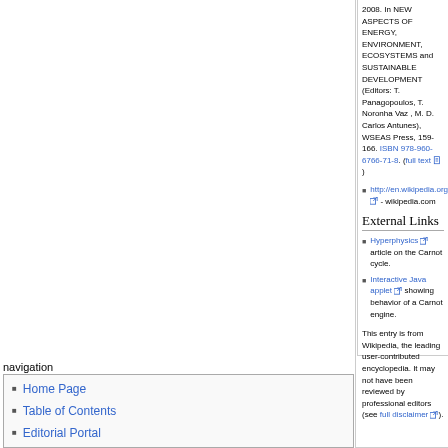2008. In NEW ASPECTS OF ENERGY, ENVIRONMENT, ECOSYSTEMS and SUSTAINABLE DEVELOPMENT (Editors: T. Panagopoulos, T. Noronha Vaz , M. D. Carlos Antunes), WSEAS Press, 159-166. ISBN 978-960-6766-71-8. (full text 📋)
http://en.wikipedia.org/wiki/Carnot_cycle [external link] - wikipedia.com
External Links
Hyperphysics [external link] article on the Carnot cycle.
Interactive Java applet [external link] showing behavior of a Carnot engine.
This entry is from Wikipedia, the leading user-contributed encyclopedia. It may not have been reviewed by professional editors (see full disclaimer [external link]).
navigation
Home Page
Table of Contents
Editorial Portal